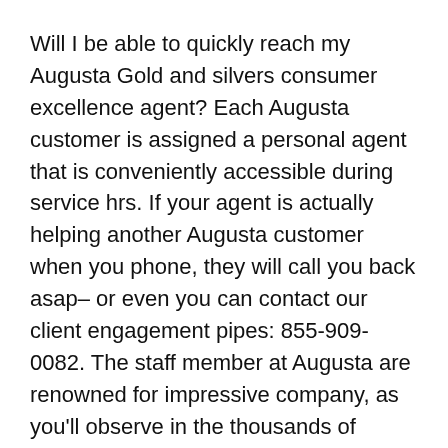Will I be able to quickly reach my Augusta Gold and silvers consumer excellence agent? Each Augusta customer is assigned a personal agent that is conveniently accessible during service hrs. If your agent is actually helping another Augusta customer when you phone, they will call you back asap– or even you can contact our client engagement pipes: 855-909-0082. The staff member at Augusta are renowned for impressive company, as you'll observe in the thousands of exceptional consumer testimonials on private assessment websites.
What types of gold and silver performs Augusta Precious Metals use?
They supply an assortment of silver and gold